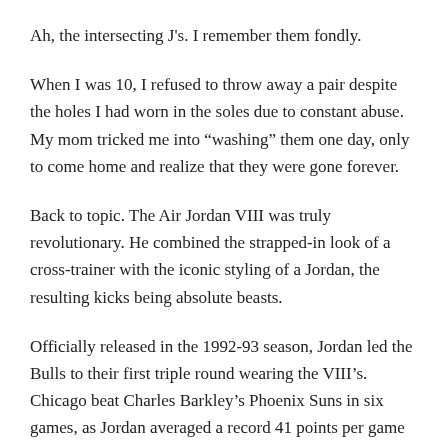Ah, the intersecting J's. I remember them fondly.
When I was 10, I refused to throw away a pair despite the holes I had worn in the soles due to constant abuse. My mom tricked me into “washing” them one day, only to come home and realize that they were gone forever.
Back to topic. The Air Jordan VIII was truly revolutionary. He combined the strapped-in look of a cross-trainer with the iconic styling of a Jordan, the resulting kicks being absolute beasts.
Officially released in the 1992-93 season, Jordan led the Bulls to their first triple round wearing the VIII’s. Chicago beat Charles Barkley’s Phoenix Suns in six games, as Jordan averaged a record 41 points per game to win the series in six.